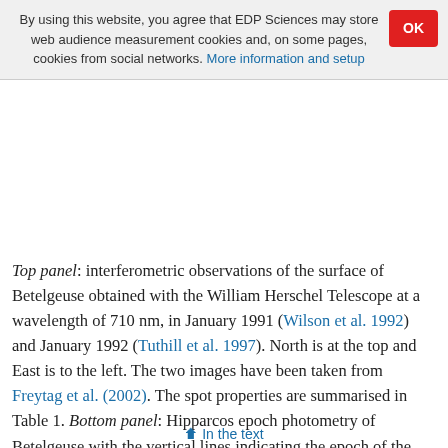By using this website, you agree that EDP Sciences may store web audience measurement cookies and, on some pages, cookies from social networks. More information and setup
Top panel: interferometric observations of the surface of Betelgeuse obtained with the William Herschel Telescope at a wavelength of 710 nm, in January 1991 (Wilson et al. 1992) and January 1992 (Tuthill et al. 1997). North is at the top and East is to the left. The two images have been taken from Freytag et al. (2002). The spot properties are summarised in Table 1. Bottom panel: Hipparcos epoch photometry of Betelgeuse with the vertical lines indicating the epoch of the two interferometric observations.
In the text